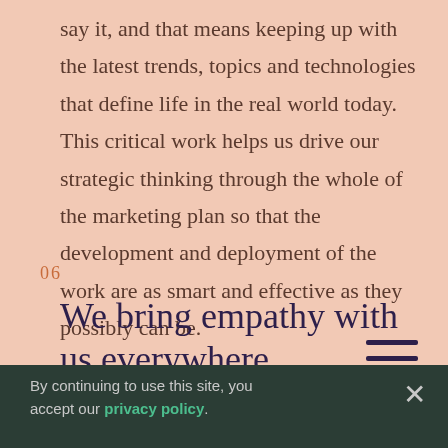say it, and that means keeping up with the latest trends, topics and technologies that define life in the real world today. This critical work helps us drive our strategic thinking through the whole of the marketing plan so that the development and deployment of the work are as smart and effective as they possibly can be.
06
We bring empathy with us everywhere.
By continuing to use this site, you accept our privacy policy.